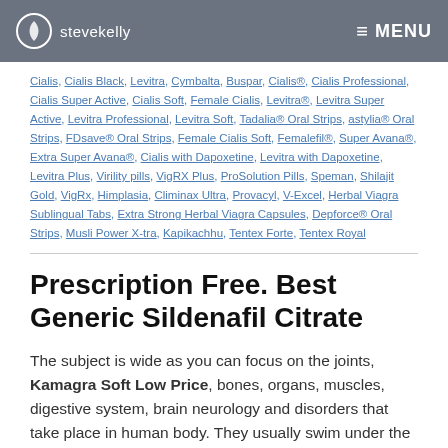stevekelly   MENU
Cialis, Cialis Black, Levitra, Cymbalta, Buspar, Cialis®, Cialis Professional, Cialis Super Active, Cialis Soft, Female Cialis, Levitra®, Levitra Super Active, Levitra Professional, Levitra Soft, Tadalia® Oral Strips, astylia® Oral Strips, FDsave® Oral Strips, Female Cialis Soft, Femalefil®, Super Avana®, Extra Super Avana®, Cialis with Dapoxetine, Levitra with Dapoxetine, Levitra Plus, Virility pills, VigRX Plus, ProSolution Pills, Speman, Shilajit Gold, VigRx, Himplasia, Climinax Ultra, Provacyl, V-Excel, Herbal Viagra Sublingual Tabs, Extra Strong Herbal Viagra Capsules, Depforce® Oral Strips, Musli Power X-tra, Kapikachhu, Tentex Forte, Tentex Royal
Prescription Free. Best Generic Sildenafil Citrate
The subject is wide as you can focus on the joints, Kamagra Soft Low Price, bones, organs, muscles, digestive system, brain neurology and disorders that take place in human body. They usually swim under the Peacock and eat the rest food Kamagra soft Low Price down from the Peacock. A day can be Kamagra soft Low Price ruined on in the South Asia Kamagra Soft Low Price